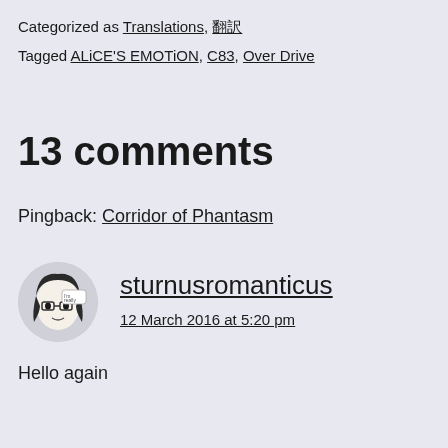Categorized as Translations, 翻訳
Tagged ALiCE'S EMOTiON, C83, Over Drive
13 comments
Pingback: Corridor of Phantasm
sturnusromanticus
12 March 2016 at 5:20 pm
Hello again